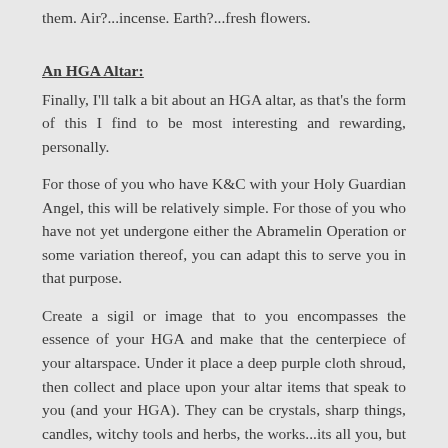them. Air?...incense. Earth?...fresh flowers.
An HGA Altar:
Finally, I'll talk a bit about an HGA altar, as that's the form of this I find to be most interesting and rewarding, personally.
For those of you who have K&C with your Holy Guardian Angel, this will be relatively simple. For those of you who have not yet undergone either the Abramelin Operation or some variation thereof, you can adapt this to serve you in that purpose.
Create a sigil or image that to you encompasses the essence of your HGA and make that the centerpiece of your altarspace. Under it place a deep purple cloth shroud, then collect and place upon your altar items that speak to you (and your HGA). They can be crystals, sharp things, candles, witchy tools and herbs, the works...its all you, but you want to make sure that this space is sanctified according to your needs and wants.